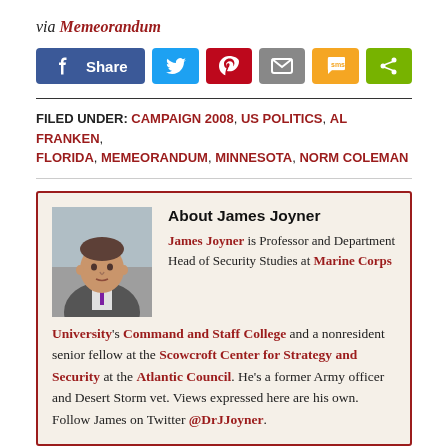via Memeorandum
[Figure (infographic): Social share buttons: Facebook Share, Twitter, Pinterest, Email, SMS, Share]
FILED UNDER: CAMPAIGN 2008, US POLITICS, AL FRANKEN, FLORIDA, MEMEORANDUM, MINNESOTA, NORM COLEMAN
About James Joyner
James Joyner is Professor and Department Head of Security Studies at Marine Corps University's Command and Staff College and a nonresident senior fellow at the Scowcroft Center for Strategy and Security at the Atlantic Council. He's a former Army officer and Desert Storm vet. Views expressed here are his own. Follow James on Twitter @DrJJoyner.
Comments